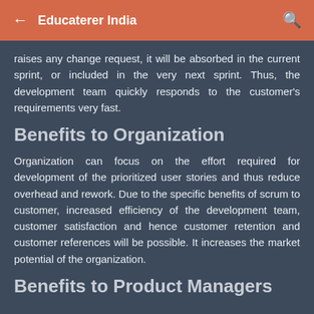Educaterer India
raises any change request, it will be absorbed in the current sprint, or included in the very next sprint. Thus, the development team quickly responds to the customer's requirements very fast.
Benefits to Organization
Organization can focus on the effort required for development of the prioritized user stories and thus reduce overhead and rework. Due to the specific benefits of scrum to customer, increased efficiency of the development team, customer satisfaction and hence customer retention and customer references will be possible. It increases the market potential of the organization.
Benefits to Product Managers